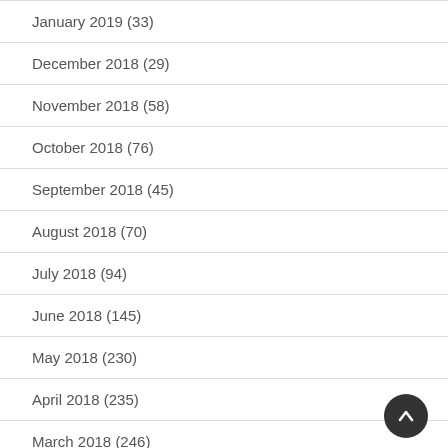January 2019 (33)
December 2018 (29)
November 2018 (58)
October 2018 (76)
September 2018 (45)
August 2018 (70)
July 2018 (94)
June 2018 (145)
May 2018 (230)
April 2018 (235)
March 2018 (246)
February 2018 (155)